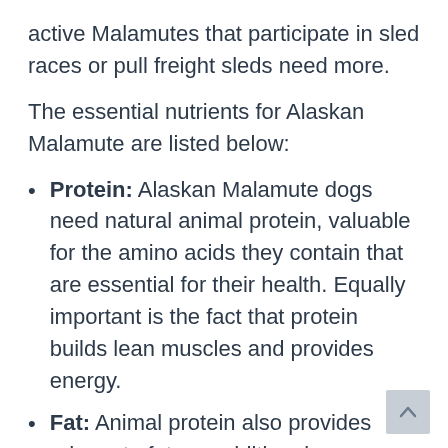active Malamutes that participate in sled races or pull freight sleds need more.
The essential nutrients for Alaskan Malamute are listed below:
Protein: Alaskan Malamute dogs need natural animal protein, valuable for the amino acids they contain that are essential for their health. Equally important is the fact that protein builds lean muscles and provides energy.
Fat: Animal protein also provides adequate fat, an additional energy source that boosts the Alaskan Malamute's